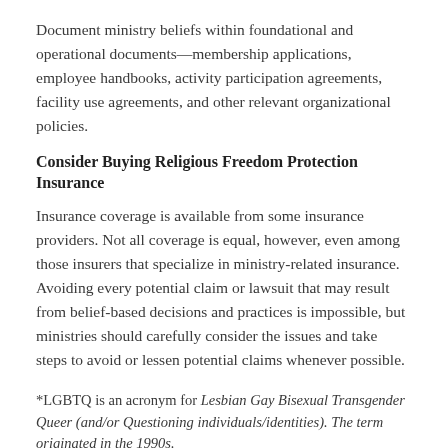Document ministry beliefs within foundational and operational documents—membership applications, employee handbooks, activity participation agreements, facility use agreements, and other relevant organizational policies.
Consider Buying Religious Freedom Protection Insurance
Insurance coverage is available from some insurance providers. Not all coverage is equal, however, even among those insurers that specialize in ministry-related insurance. Avoiding every potential claim or lawsuit that may result from belief-based decisions and practices is impossible, but ministries should carefully consider the issues and take steps to avoid or lessen potential claims whenever possible.
*LGBTQ is an acronym for Lesbian Gay Bisexual Transgender Queer (and/or Questioning individuals/identities). The term originated in the 1990s.